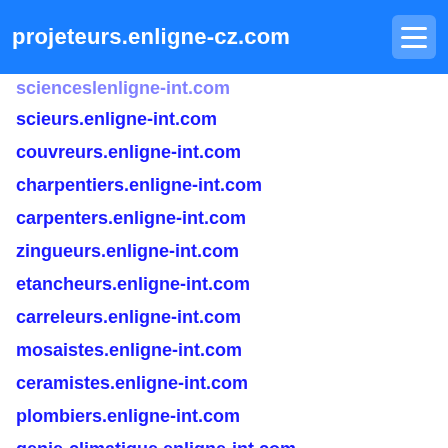projeteurs.enligne-cz.com
scienceslenligne-int.com
scieurs.enligne-int.com
couvreurs.enligne-int.com
charpentiers.enligne-int.com
carpenters.enligne-int.com
zingueurs.enligne-int.com
etancheurs.enligne-int.com
carreleurs.enligne-int.com
mosaistes.enligne-int.com
ceramistes.enligne-int.com
plombiers.enligne-int.com
genie-climatique.enligne-int.com
chauffagistes.enligne-int.com
thermisions.enligne-int.com